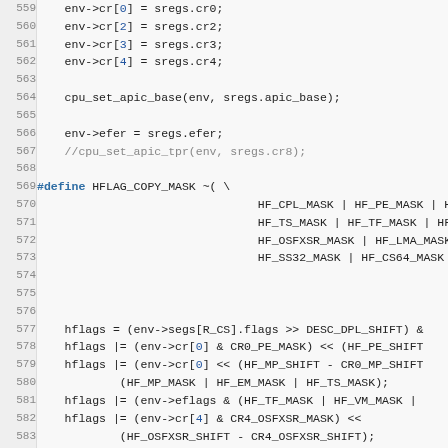[Figure (screenshot): Source code viewer showing lines 559-584 of a C/C++ file. Lines have line numbers in a gray gutter on the left and code on the right. The code includes register assignments, a macro definition HFLAG_COPY_MASK, and hflags bit operations.]